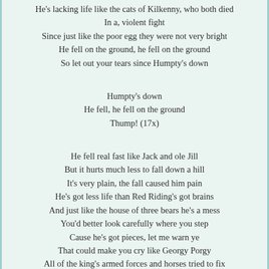He's lacking life like the cats of Kilkenny, who both died
In a, violent fight
Since just like the poor egg they were not very bright
He fell on the ground, he fell on the ground
So let out your tears since Humpty's down

Humpty's down
He fell, he fell on the ground
Thump! (17x)

He fell real fast like Jack and ole Jill
But it hurts much less to fall down a hill
It's very plain, the fall caused him pain
He's got less life than Red Riding's got brains
And just like the house of three bears he's a mess
You'd better look carefully where you step
Cause he's got pieces, let me warn ye
That could make you cry like Georgy Porgy
All of the king's armed forces and horses tried to fix
The Eggman's shattered shell, with their fancy tricks
To no avail, all efforts failed